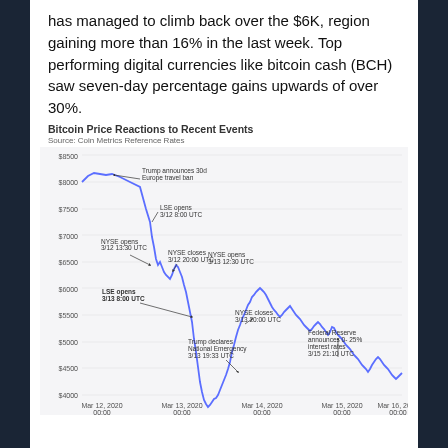has managed to climb back over the $6K, region gaining more than 16% in the last week. Top performing digital currencies like bitcoin cash (BCH) saw seven-day percentage gains upwards of over 30%.
[Figure (continuous-plot): Line chart showing Bitcoin price from Mar 12 to Mar 16 2020 with annotated events: Trump announces 30d Europe travel ban, NYSE opens/closes 3/12, LSE opens 3/12 8:00 UTC, LSE opens 3/13 8:00 UTC, NYSE opens/closes 3/13, Trump declares National Emergency 3/13 19:33 UTC, Federal Reserve announces 0-25% interest rates 3/15 21:10 UTC. Source: Coin Metrics Reference Rates.]